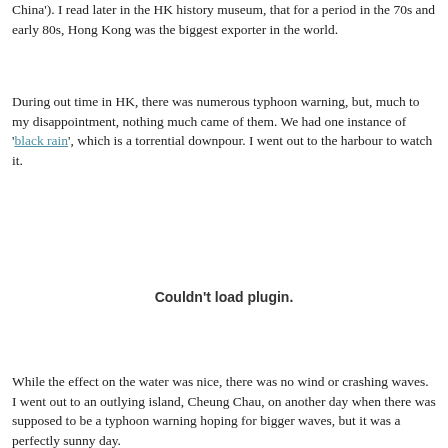China'). I read later in the HK history museum, that for a period in the 70s and early 80s, Hong Kong was the biggest exporter in the world.
During out time in HK, there was numerous typhoon warning, but, much to my disappointment, nothing much came of them.  We had one instance of 'black rain', which is a torrential downpour.  I went out to the harbour to watch it.
[Figure (other): Embedded plugin area showing 'Couldn't load plugin.' message]
While the effect on the water was nice, there was no wind or crashing waves.  I went out to an outlying island, Cheung Chau, on another day when there was supposed to be a typhoon warning hoping for bigger waves, but it was a perfectly sunny day.